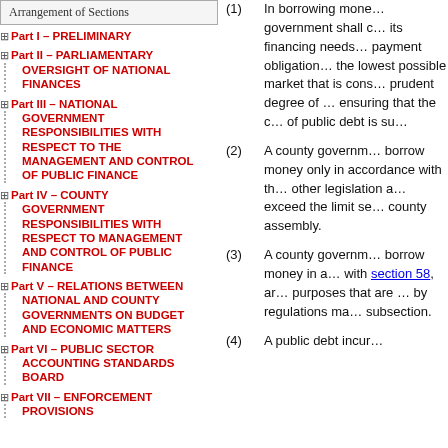Arrangement of Sections
Part I – PRELIMINARY
Part II – PARLIAMENTARY OVERSIGHT OF NATIONAL FINANCES
Part III – NATIONAL GOVERNMENT RESPONSIBILITIES WITH RESPECT TO THE MANAGEMENT AND CONTROL OF PUBLIC FINANCE
Part IV – COUNTY GOVERNMENT RESPONSIBILITIES WITH RESPECT TO MANAGEMENT AND CONTROL OF PUBLIC FINANCE
Part V – RELATIONS BETWEEN NATIONAL AND COUNTY GOVERNMENTS ON BUDGET AND ECONOMIC MATTERS
Part VI – PUBLIC SECTOR ACCOUNTING STANDARDS BOARD
Part VII – ENFORCEMENT PROVISIONS
(1) In borrowing money, government shall consider its financing needs, payment obligations, at the lowest possible market that is consistent with a prudent degree of risk, ensuring that the country of public debt is sustainable.
(2) A county government may borrow money only in accordance with this and other legislation and not exceed the limit set by county assembly.
(3) A county government may borrow money in accordance with section 58, and for purposes that are prescribed by regulations made under this subsection.
(4) A public debt incurred...